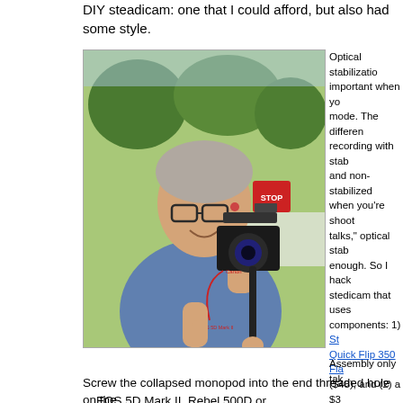DIY steadicam: one that I could afford, but also had some style.
[Figure (photo): Man holding a Canon EOS 5D Mark II camera mounted on a monopod/steadicam rig, smiling at the camera, outdoors near a stop sign and trees.]
Optical stabilization is important when you're in video mode. The difference between recording with stabilization and non-stabilized video, when you're shooting "talking talks," optical stabilization is enough. So I hacked up a steadicam that uses two components: 1) StudioBall Quick Flip 350 Flash Bracket ($48), and (2) a $30 monopod such as the Velbon 4-Section Monopod. less than $80, that... already have these... laying around the h...
Assembly only tak...
Screw the collapsed monopod into the end threaded hole on the